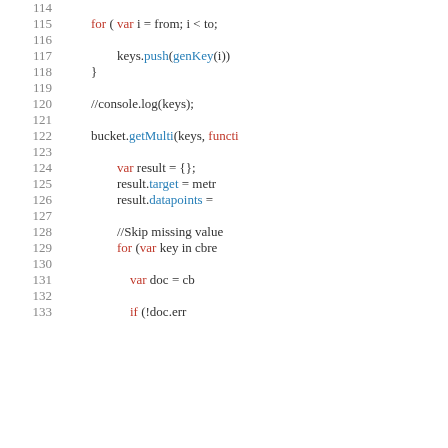Code snippet lines 114-133 showing JavaScript source code with syntax highlighting. Lines include for loop, keys.push(genKey(i)), closing brace, console.log comment, bucket.getMulti call, var result = {}, result.target, result.datapoints, skip missing values comment, for var key in cbre loop, var doc = cb, if (!doc.err